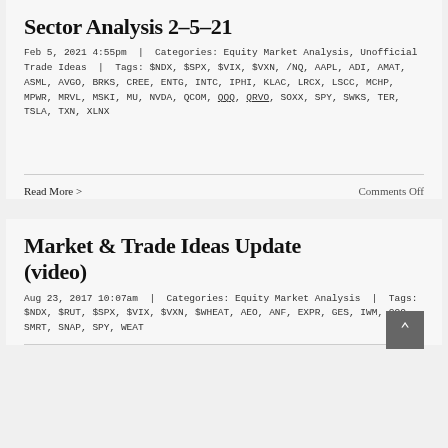Sector Analysis 2-5-21
Feb 5, 2021 4:55pm | Categories: Equity Market Analysis, Unofficial Trade Ideas | Tags: $NDX, $SPX, $VIX, $VXN, /NQ, AAPL, ADI, AMAT, ASML, AVGO, BRKS, CREE, ENTG, INTC, IPHI, KLAC, LRCX, LSCC, MCHP, MPWR, MRVL, MSKI, MU, NVDA, QCOM, QQQ, QRVO, SOXX, SPY, SWKS, TER, TSLA, TXN, XLNX
Read More >
Comments Off
Market & Trade Ideas Update (video)
Aug 23, 2017 10:07am | Categories: Equity Market Analysis | Tags: $NDX, $RUT, $SPX, $VIX, $VXN, $WHEAT, AEO, ANF, EXPR, GES, IWM, QQQ, SMRT, SNAP, SPY, WEAT